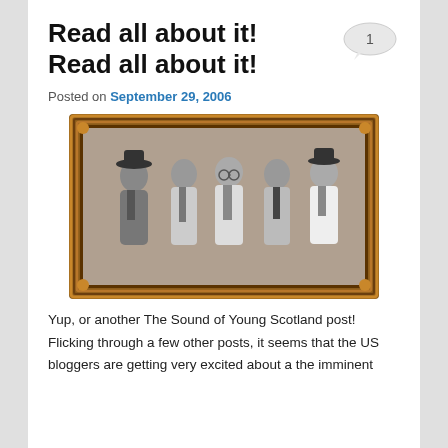Read all about it! Read all about it!
Posted on September 29, 2006
[Figure (photo): Black and white photograph of five young people (a band) posed together inside an ornate gilded picture frame. The group consists of one woman and four men, all wearing ties and suspenders in a vintage style.]
Yup, or another The Sound of Young Scotland post! Flicking through a few other posts, it seems that the US bloggers are getting very excited about a the imminent